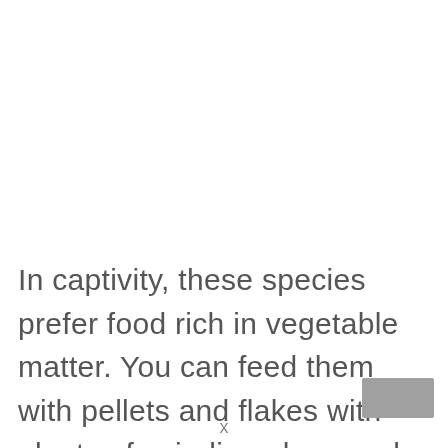In captivity, these species prefer food rich in vegetable matter. You can feed them with pellets and flakes with plenty of spirulina algae and other